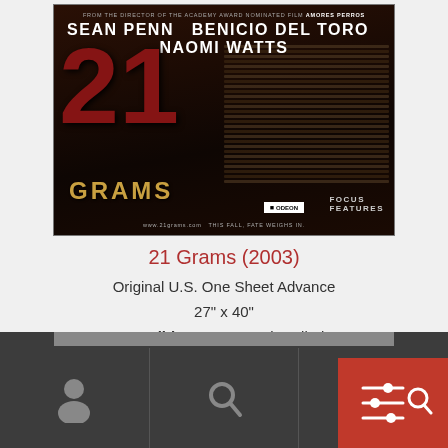[Figure (photo): Movie poster for '21 Grams (2003)' featuring Sean Penn, Benicio Del Toro, and Naomi Watts. Dark brown/red background with large '21' in red and 'GRAMS' in gold. Text blocks cover right side. Odeon and Focus Features logos at bottom. Tagline: 'This Fall, Fate Weighs In.']
21 Grams (2003)
Original U.S. One Sheet Advance
27" x 40"
Condition: Very Good, Rolled
[Figure (screenshot): Bottom dark navigation bar with person icon, search icon, and a red box with icons on the right]